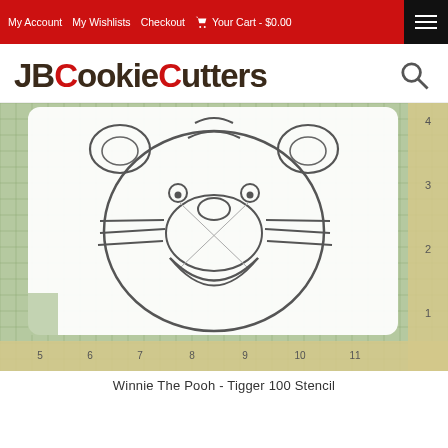My Account  My Wishlists  Checkout  Your Cart - $0.00
JBCookieCutters
[Figure (photo): Photo of a Tigger face cookie stencil placed on a green grid cutting mat with ruler measurements visible. The stencil shows Tigger's face outline with ears, eyes, nose, whiskers, and smile.]
Winnie The Pooh - Tigger 100 Stencil